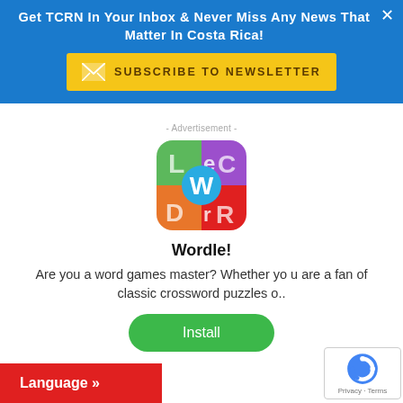Get TCRN In Your Inbox & Never Miss Any News That Matter In Costa Rica!
SUBSCRIBE TO NEWSLETTER
- Advertisement -
[Figure (illustration): Wordle app icon — colorful tiled background with letters L, E, C, D, R and a blue circle with white W in center]
Wordle!
Are you a word games master? Whether yo u are a fan of classic crossword puzzles o..
Install
Language »